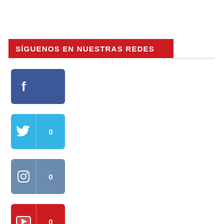SÍGUENOS EN NUESTRAS REDES
[Figure (illustration): Facebook social media button (dark blue) with 'f' icon]
[Figure (illustration): Twitter social media button (light blue) with bird icon and count '0']
[Figure (illustration): Instagram social media button (steel blue) with camera icon and count '0']
[Figure (illustration): YouTube social media button (red) with play icon and count '0']